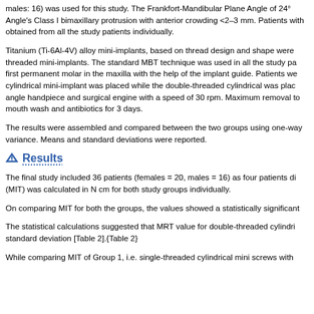males: 16) was used for this study. The Frankfort-Mandibular Plane Angle of 24° Angle's Class I bimaxillary protrusion with anterior crowding <2–3 mm. Patients with obtained from all the study patients individually.
Titanium (Ti-6Al-4V) alloy mini-implants, based on thread design and shape were threaded mini-implants. The standard MBT technique was used in all the study pa first permanent molar in the maxilla with the help of the implant guide. Patients we cylindrical mini-implant was placed while the double-threaded cylindrical was plac angle handpiece and surgical engine with a speed of 30 rpm. Maximum removal to mouth wash and antibiotics for 3 days.
The results were assembled and compared between the two groups using one-way variance. Means and standard deviations were reported.
Results
The final study included 36 patients (females = 20, males = 16) as four patients di (MIT) was calculated in N cm for both study groups individually.
On comparing MIT for both the groups, the values showed a statistically significant
The statistical calculations suggested that MRT value for double-threaded cylindri standard deviation [Table 2].{Table 2}
While comparing MIT of Group 1, i.e. single-threaded cylindrical mini screws with